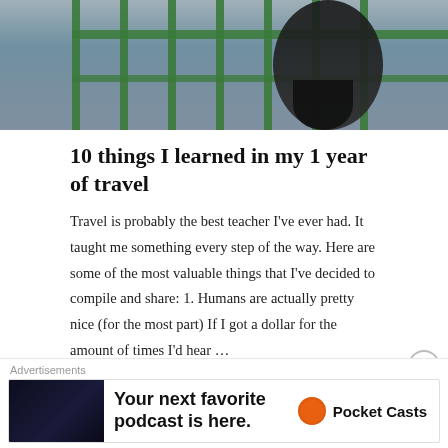[Figure (photo): A person in a dark floral dress standing by green metal fence railing with water visible in background]
10 things I learned in my 1 year of travel
Travel is probably the best teacher I've ever had. It taught me something every step of the way. Here are some of the most valuable things that I've decided to compile and share: 1. Humans are actually pretty nice (for the most part) If I got a dollar for the amount of times I'd hear …
Continue reading
by travellingafghan   August 6, 2020
Advertisements
Your next favorite podcast is here.   Pocket Casts